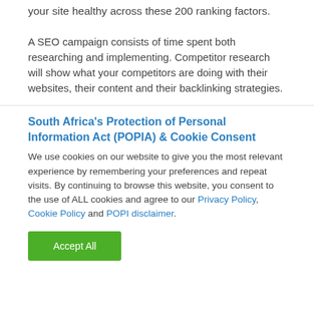your site healthy across these 200 ranking factors.
A SEO campaign consists of time spent both researching and implementing. Competitor research will show what your competitors are doing with their websites, their content and their backlinking strategies.
South Africa's Protection of Personal Information Act (POPIA) & Cookie Consent
We use cookies on our website to give you the most relevant experience by remembering your preferences and repeat visits. By continuing to browse this website, you consent to the use of ALL cookies and agree to our Privacy Policy, Cookie Policy and POPI disclaimer.
Accept All